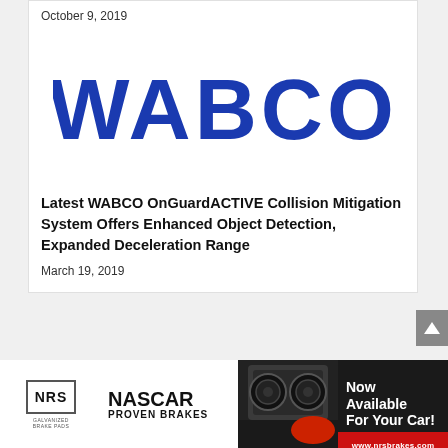October 9, 2019
[Figure (logo): WABCO company logo in bold blue text]
Latest WABCO OnGuardACTIVE Collision Mitigation System Offers Enhanced Object Detection, Expanded Deceleration Range
March 19, 2019
[Figure (photo): NRS NASCAR Proven Brakes advertisement banner with brake pads image and racing car, featuring 'Now Available For Your Car!' text and www.nrsbrakes.com website]